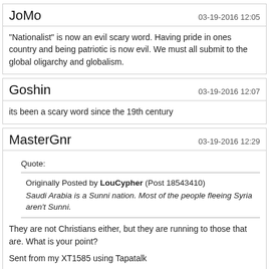JoMo
03-19-2016 12:05
"Nationalist" is now an evil scary word. Having pride in ones country and being patriotic is now evil. We must all submit to the global oligarchy and globalism.
Goshin
03-19-2016 12:07
its been a scary word since the 19th century
MasterGnr
03-19-2016 12:29
Quote:
Originally Posted by LouCypher (Post 18543410)
Saudi Arabia is a Sunni nation. Most of the people fleeing Syria aren't Sunni.
They are not Christians either, but they are running to those that are. What is your point?

Sent from my XT1585 using Tapatalk